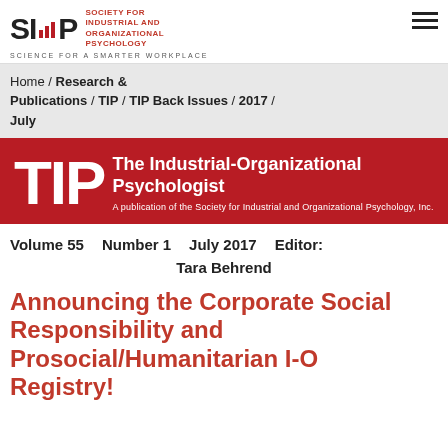[Figure (logo): SIOP logo with bar chart icon and text 'Society for Industrial and Organizational Psychology' and tagline 'Science for a Smarter Workplace']
Home / Research & Publications / TIP / TIP Back Issues / 2017 / July
[Figure (illustration): TIP banner: large 'TIP' text with 'The Industrial-Organizational Psychologist' subtitle and 'A publication of the Society for Industrial and Organizational Psychology, Inc.' on red background]
Volume 55   Number 1   July 2017   Editor: Tara Behrend
Announcing the Corporate Social Responsibility and Prosocial/Humanitarian I-O Registry!